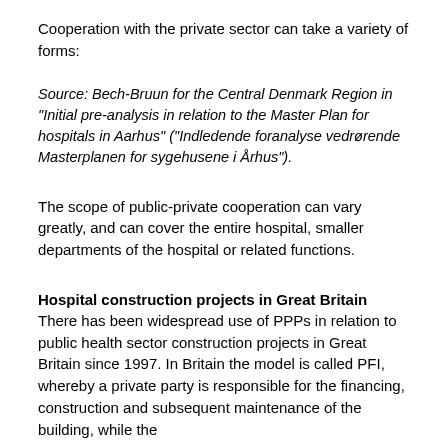Cooperation with the private sector can take a variety of forms:
Source: Bech-Bruun for the Central Denmark Region in "Initial pre-analysis in relation to the Master Plan for hospitals in Aarhus" ("Indledende foranalyse vedrørende Masterplanen for sygehusene i Århus").
The scope of public-private cooperation can vary greatly, and can cover the entire hospital, smaller departments of the hospital or related functions.
Hospital construction projects in Great Britain
There has been widespread use of PPPs in relation to public health sector construction projects in Great Britain since 1997. In Britain the model is called PFI, whereby a private party is responsible for the financing, construction and subsequent maintenance of the building, while the